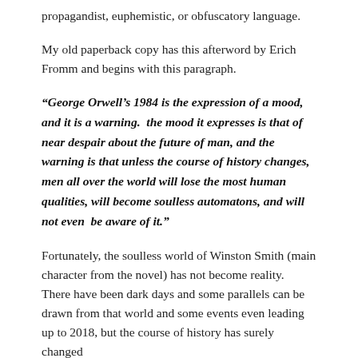propagandist, euphemistic, or obfuscatory language.
My old paperback copy has this afterword by Erich Fromm and begins with this paragraph.
“George Orwell’s 1984 is the expression of a mood, and it is a warning.  the mood it expresses is that of near despair about the future of man, and the warning is that unless the course of history changes, men all over the world will lose the most human qualities, will become soulless automatons, and will not even  be aware of it.”
Fortunately, the soulless world of Winston Smith (main character from the novel) has not become reality.  There have been dark days and some parallels can be drawn from that world and some events even leading up to 2018, but the course of history has surely changed